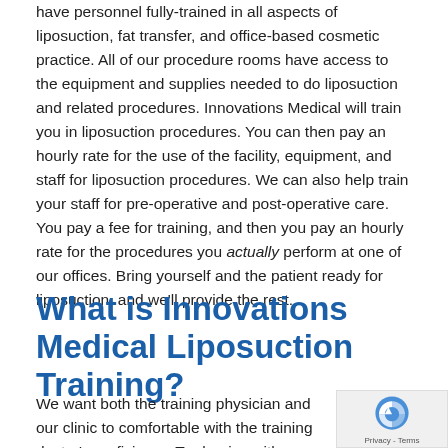have personnel fully-trained in all aspects of liposuction, fat transfer, and office-based cosmetic practice. All of our procedure rooms have access to the equipment and supplies needed to do liposuction and related procedures. Innovations Medical will train you in liposuction procedures. You can then pay an hourly rate for the use of the facility, equipment, and staff for liposuction procedures. We can also help train your staff for pre-operative and post-operative care. You pay a fee for training, and then you pay an hourly rate for the procedures you actually perform at one of our offices. Bring yourself and the patient ready for liposuction, and we'll provide the rest.
What is Innovations Medical Liposuction Training?
We want both the training physician and our clinic to comfortable with the training doctor's proficiency. Tra begins with learning for one procedure, then essential...